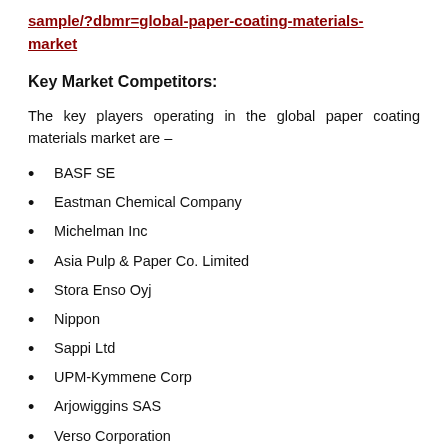sample/?dbmr=global-paper-coating-materials-market
Key Market Competitors:
The key players operating in the global paper coating materials market are –
BASF SE
Eastman Chemical Company
Michelman Inc
Asia Pulp & Paper Co. Limited
Stora Enso Oyj
Nippon
Sappi Ltd
UPM-Kymmene Corp
Arjowiggins SAS
Verso Corporation
Imerys S.A.
Penford Corporation